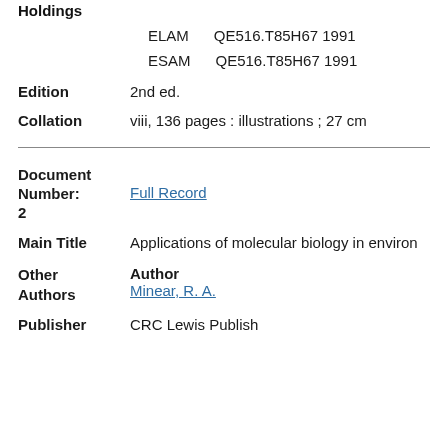Holdings
ELAM    QE516.T85H67 1991
ESAM    QE516.T85H67 1991
Edition    2nd ed.
Collation    viii, 136 pages : illustrations ; 27 cm
Document Number: 2    Full Record
Main Title    Applications of molecular biology in environ
Other Authors    Author    Minear, R. A.
Publisher    CRC Lewis Publisher